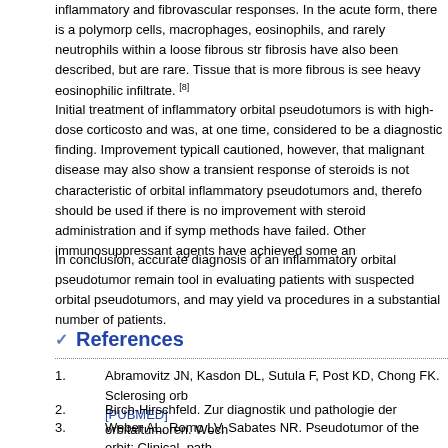inflammatory and fibrovascular responses. In the acute form, there is a polymorp cells, macrophages, eosinophils, and rarely neutrophils within a loose fibrous str fibrosis have also been described, but are rare. Tissue that is more fibrous is see heavy eosinophilic infiltrate. [8]
Initial treatment of inflammatory orbital pseudotumors is with high-dose corticosto and was, at one time, considered to be a diagnostic finding. Improvement typicall cautioned, however, that malignant disease may also show a transient response of steroids is not characteristic of orbital inflammatory pseudotumors and, therefo should be used if there is no improvement with steroid administration and if symp methods have failed. Other immunosuppressant agents have achieved some an
In conclusion, accurate diagnosis of an inflammatory orbital pseudotumor remain tool in evaluating patients with suspected orbital pseudotumors, and may yield va procedures in a substantial number of patients.
References
1. Abramovitz JN, Kasdon DL, Sutula F, Post KD, Chong FK. Sclerosing orb [PUBMED]
2. Birch-Hirschfeld. Zur diagnostik und pathologie der orbitaltumoren. Woch
3. Weber AL, Romo LV, Sabates NR. Pseudotumor of the orbit: Clinical, path 1999;37:151-68. ↑ [PUBMED]